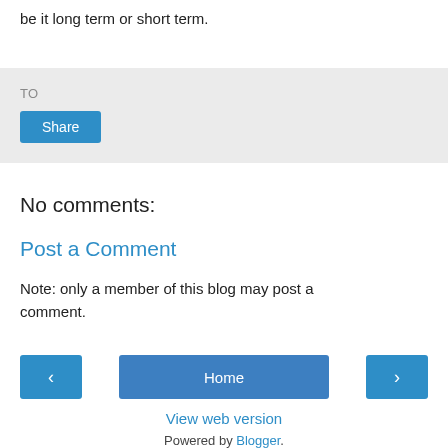be it long term or short term.
TO
Share
No comments:
Post a Comment
Note: only a member of this blog may post a comment.
‹  Home  ›
View web version
Powered by Blogger.